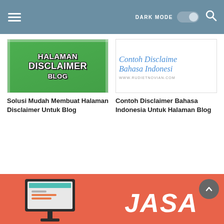DARK MODE [toggle] [search]
[Figure (illustration): Green banner with bold white text reading HALAMAN DISCLAIMER BLOG]
Solusi Mudah Membuat Halaman Disclaimer Untuk Blog
[Figure (illustration): White background with blue italic script text reading 'Contoh Disclaime' and 'Bahasa Indonesi' with URL WWW.RUDIETNOVIAN.COM]
Contoh Disclaimer Bahasa Indonesia Untuk Halaman Blog
[Figure (illustration): Coral/orange background with white bold italic text JASA and a flat design computer monitor illustration]